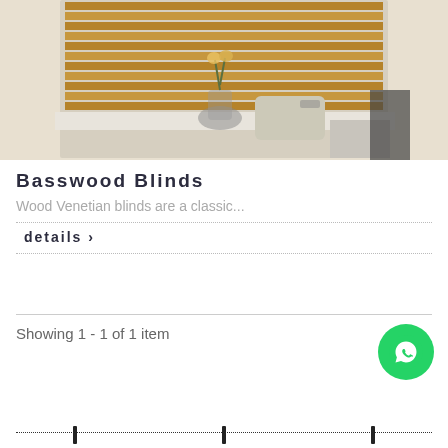[Figure (photo): Photo of wooden venetian blinds on a window with a glass vase with flowers and a retro radio on the windowsill]
Basswood Blinds
Wood Venetian blinds are a classic...
details ›
Showing 1 - 1 of 1 item
[Figure (logo): WhatsApp contact button (green circle with WhatsApp phone icon)]